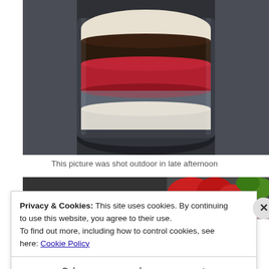[Figure (photo): A layered dessert in a clear glass cup, showing layers of white cream, red fruit compote, dark chocolate crumble, and more cream on top, photographed from above on a dark surface.]
This picture was shot outdoor in late afternoon
[Figure (photo): Partial view of a second food photo showing strawberries and green leaf on dark background.]
Privacy & Cookies: This site uses cookies. By continuing to use this website, you agree to their use.
To find out more, including how to control cookies, see here: Cookie Policy
Close and accept